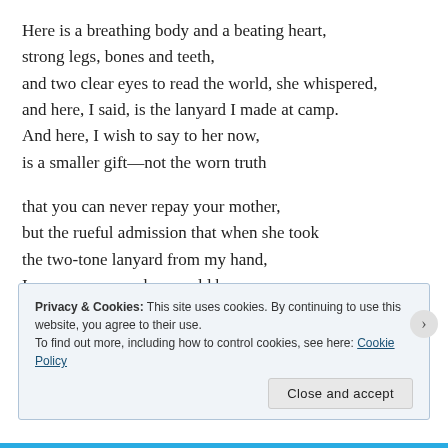Here is a breathing body and a beating heart,
strong legs, bones and teeth,
and two clear eyes to read the world, she whispered,
and here, I said, is the lanyard I made at camp.
And here, I wish to say to her now,
is a smaller gift—not the worn truth

that you can never repay your mother,
but the rueful admission that when she took
the two-tone lanyard from my hand,
I was as sure as a boy could be
Privacy & Cookies: This site uses cookies. By continuing to use this website, you agree to their use.
To find out more, including how to control cookies, see here: Cookie Policy
Close and accept